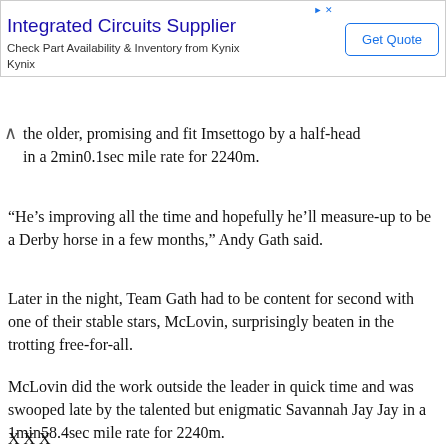[Figure (other): Advertisement banner for Integrated Circuits Supplier from Kynix with Get Quote button]
the older, promising and fit Imsettogo by a half-head in a 2min0.1sec mile rate for 2240m.
“He’s improving all the time and hopefully he’ll measure-up to be a Derby horse in a few months,” Andy Gath said.
Later in the night, Team Gath had to be content for second with one of their stable stars, McLovin, surprisingly beaten in the trotting free-for-all.
McLovin did the work outside the leader in quick time and was swooped late by the talented but enigmatic Savannah Jay Jay in a 1min58.4sec mile rate for 2240m.
X X X